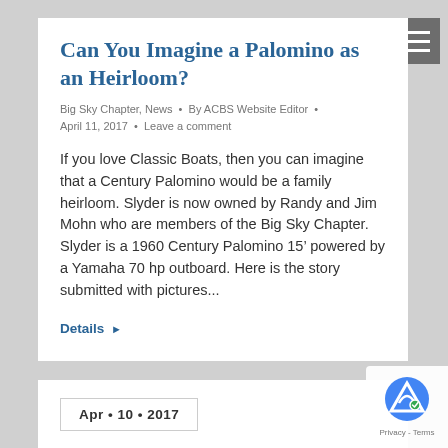Can You Imagine a Palomino as an Heirloom?
Big Sky Chapter, News · By ACBS Website Editor · April 11, 2017 · Leave a comment
If you love Classic Boats, then you can imagine that a Century Palomino would be a family heirloom. Slyder is now owned by Randy and Jim Mohn who are members of the Big Sky Chapter. Slyder is a 1960 Century Palomino 15’ powered by a Yamaha 70 hp outboard. Here is the story submitted with pictures...
Details ▶
Apr • 10 • 2017